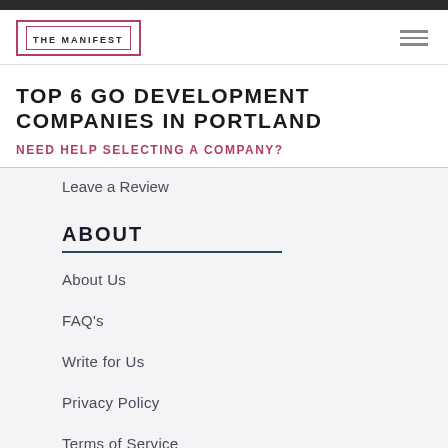THE MANIFEST
TOP 6 GO DEVELOPMENT COMPANIES IN PORTLAND
NEED HELP SELECTING A COMPANY?
Leave a Review
ABOUT
About Us
FAQ's
Write for Us
Privacy Policy
Terms of Service